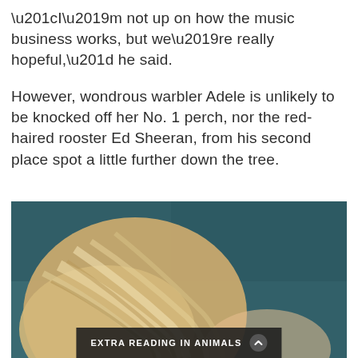“I’m not up on how the music business works, but we’re really hopeful,” he said.
However, wondrous warbler Adele is unlikely to be knocked off her No. 1 perch, nor the red-haired rooster Ed Sheeran, from his second place spot a little further down the tree.
[Figure (photo): Close-up photo of a blonde woman’s hair against a dark teal/blue blurred background, with an ‘EXTRA READING IN ANIMALS’ overlay bar at the bottom.]